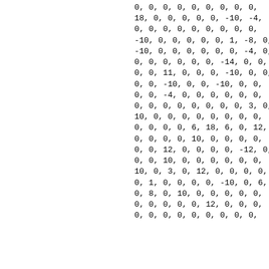0, 0, 0, 0, 0, 0, 0, 0, 0,
18, 0, 0, 0, 0, 0, -10, -4,
0, 0, 0, 0, 0, 0, 0, 0, 0,
-10, 0, 0, 0, 0, 0, 1, -8, 0,
-10, 0, 0, 0, 0, 0, 0, -4, 0,
0, 0, 0, 0, 0, 0, -14, 0, 0,
0, 0, 11, 0, 0, 0, -10, 0, 0,
0, 0, -10, 0, 0, -10, 0, 0,
0, 0, -4, 0, 0, 0, 0, 0, 0,
0, 0, 0, 0, 0, 0, 0, 0, 3, 0,
10, 0, 0, 0, 0, 0, 0, 0, 0,
0, 0, 0, 0, 6, 18, 6, 0, 12,
0, 0, 0, 0, 10, 0, 0, 0, 0,
0, 0, 12, 0, 0, 0, 0, -12, 0,
0, 0, 10, 0, 0, 0, 0, 0, 0,
10, 0, 3, 0, 12, 0, 0, 0, 0,
0, 1, 0, 0, 0, 0, -10, 0, 6,
0, 8, 0, 10, 0, 0, 0, 0, 0,
0, 0, 0, 0, 0, 12, 0, 0, 0,
0, 0, 0, 0, 0, 0, 0, 0, 0,